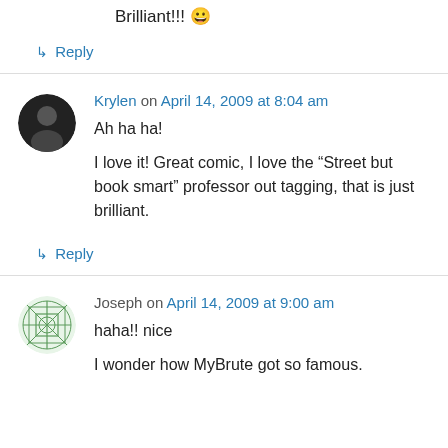Brilliant!!! 😀
↳ Reply
Krylen on April 14, 2009 at 8:04 am
Ah ha ha!
I love it! Great comic, I love the "Street but book smart" professor out tagging, that is just brilliant.
↳ Reply
Joseph on April 14, 2009 at 9:00 am
haha!! nice
I wonder how MyBrute got so famous.